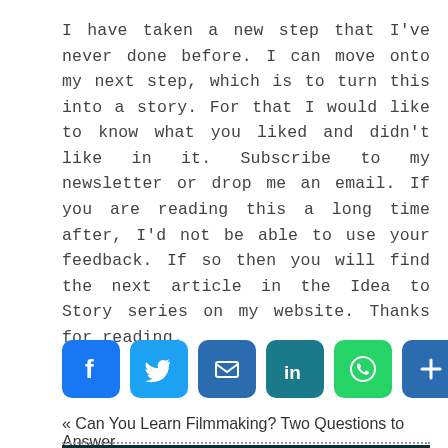I have taken a new step that I've never done before. I can move onto my next step, which is to turn this into a story. For that I would like to know what you liked and didn't like in it. Subscribe to my newsletter or drop me an email. If you are reading this a long time after, I'd not be able to use your feedback. If so then you will find the next article in the Idea to Story series on my website. Thanks for reading.
[Figure (infographic): Social sharing buttons row: Facebook (blue), Twitter (light blue), Email (blue), LinkedIn (dark blue/teal), WhatsApp (green), Share/Plus (blue)]
« Can You Learn Filmmaking? Two Questions to Answer